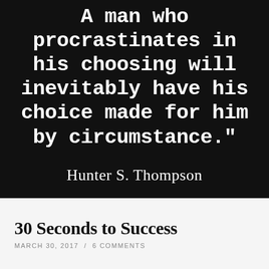[Figure (other): Black background image with white monospace text quote: 'A man who procrastinates in his choosing will inevitably have his choice made for him by circumstance.' attributed to Hunter S. Thompson]
30 Seconds to Success
MARCH 30, 2017 / 6 COMMENTS